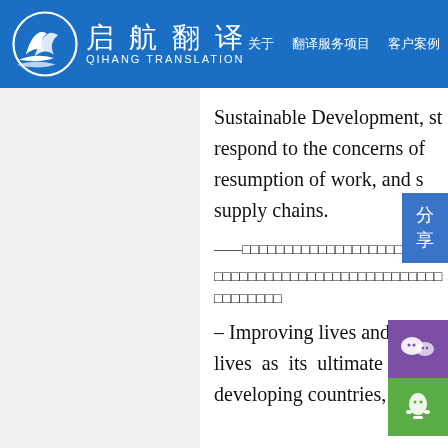启航翻译 QIHANG TRANSLATION
Sustainable Development, st... respond to the concerns of ... resumption of work, and s... supply chains.
——[CJK characters]
[CJK characters]
– Improving lives and sharing... lives as its ultimate o... developing countries, es...